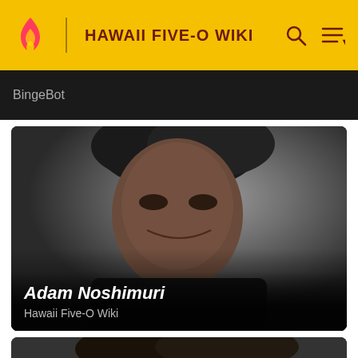HAWAII FIVE-O WIKI
BingeBot
[Figure (photo): Portrait photo of Adam Noshimuri, a smiling man with dark hair against a grey background]
Adam Noshimuri
Hawaii Five-O Wiki
[Figure (photo): Partial portrait of a second person, only top of head visible at bottom of page]